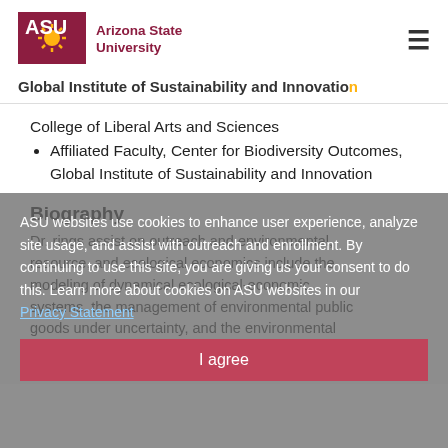Arizona State University — Global Institute of Sustainability and Innovation
College of Liberal Arts and Sciences
Affiliated Faculty, Center for Biodiversity Outcomes, Global Institute of Sustainability and Innovation
Biography
Dr. rings assist on outreach and environmental, resource, and ecological economics include the modeling of dynamical ecological-economic systems, the management of environmental public goods under uncertainty, and the environmental implications of economic development. His applied research focuses on the economics of biodiversity
ASU websites use cookies to enhance user experience, analyze site usage, and assist with outreach and enrollment. By continuing to use this site, you are giving us your consent to do this. Learn more about cookies on ASU websites in our Privacy Statement. I agree